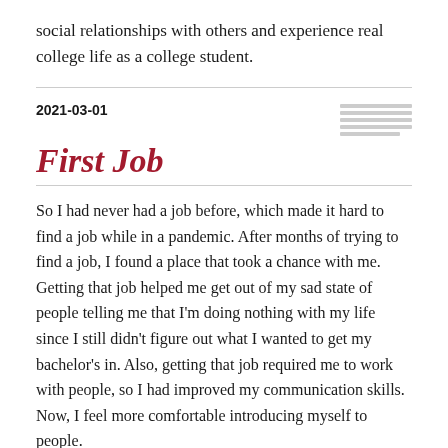social relationships with others and experience real college life as a college student.
2021-03-01
First Job
So I had never had a job before, which made it hard to find a job while in a pandemic. After months of trying to find a job, I found a place that took a chance with me. Getting that job helped me get out of my sad state of people telling me that I'm doing nothing with my life since I still didn't figure out what I wanted to get my bachelor's in. Also, getting that job required me to work with people, so I had improved my communication skills. Now, I feel more comfortable introducing myself to people.